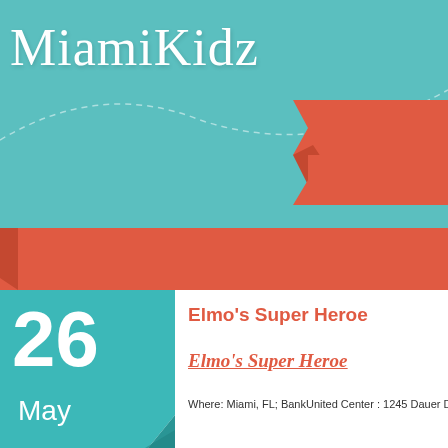MiamiKidz
ATTRA
[Figure (illustration): Decorative red ribbon/banner shape in the upper right area of the teal header]
[Figure (illustration): Large horizontal red/coral ribbon band spanning the full width of the page]
[Figure (infographic): Teal calendar block showing date 26 May]
26
May
Elmo's Super Heroe
Elmo's Super Heroe
Where: Miami, FL; BankUnited Center : 1245 Dauer D